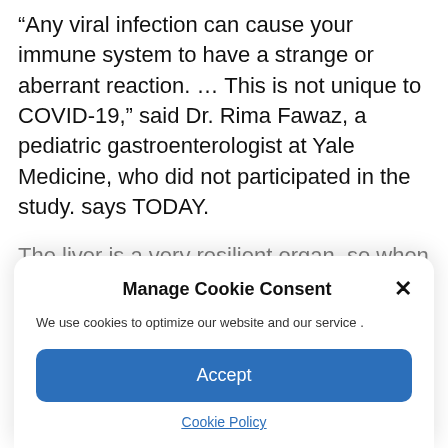“Any viral infection can cause your immune system to have a strange or aberrant reaction. … This is not unique to COVID-19,” said Dr. Rima Fawaz, a pediatric gastroenterologist at Yale Medicine, who did not participated in the study. says TODAY.
The liver is a very resilient organ, so when it comes to liver damage, especially in healthy
Manage Cookie Consent
We use cookies to optimize our website and our service .
Accept
Cookie Policy